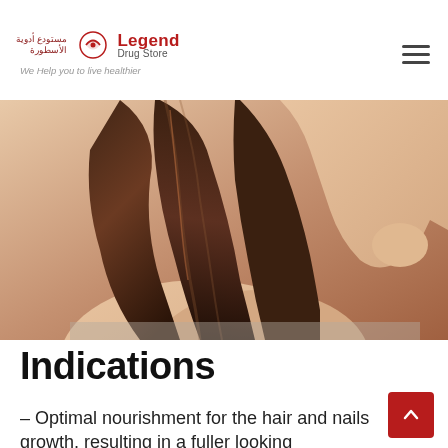Legend Drug Store — We Help you to live healthier
[Figure (photo): Woman with long, straight, shiny brown hair posing with her arm raised over her head]
Indications
– Optimal nourishment for the hair and nails growth, resulting in a fuller looking